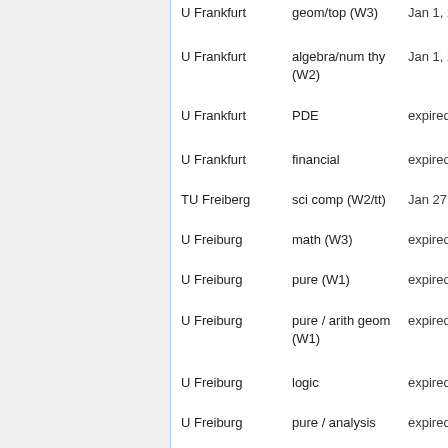| Institution | Field | Date | Link |
| --- | --- | --- | --- |
| U Frankfurt | geom/top (W3) | Jan 1, 2009 |  |
| U Frankfurt | algebra/num thy (W2) | Jan 1, 2009 |  |
| U Frankfurt | PDE | expired |  |
| U Frankfurt | financial | expired |  |
| TU Freiberg | sci comp (W2/tt) | Jan 27, 2009 |  |
| U Freiburg | math (W3) | expired |  |
| U Freiburg | pure (W1) | expired |  |
| U Freiburg | pure / arith geom (W1) | expired |  |
| U Freiburg | logic | expired |  |
| U Freiburg | pure / analysis | expired |  |